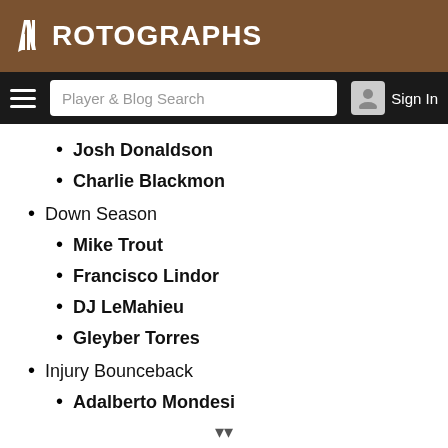ROTOGRAPHS
Player & Blog Search | Sign In
Josh Donaldson
Charlie Blackmon
Down Season
Mike Trout
Francisco Lindor
DJ LeMahieu
Gleyber Torres
Injury Bounceback
Adalberto Mondesi